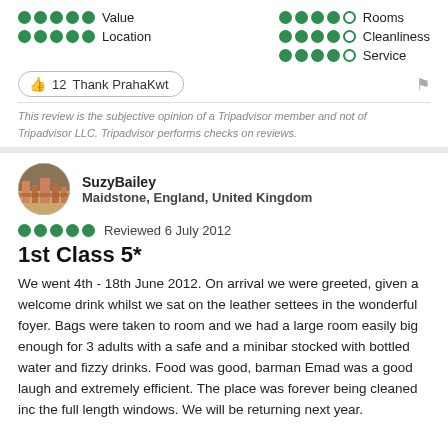[Figure (infographic): Rating dots for Value (5 full), Location (5 full), Rooms (4 full 1 empty), Cleanliness (4 full 1 empty), Service (4 full 1 empty)]
👍 12  Thank PrahaKwt
This review is the subjective opinion of a Tripadvisor member and not of Tripadvisor LLC. Tripadvisor performs checks on reviews.
[Figure (photo): Circular avatar photo of SuzyBailey showing a cityscape]
SuzyBailey
Maidstone, England, United Kingdom
[Figure (infographic): 5 full green dots rating]
Reviewed 6 July 2012
1st Class 5*
We went 4th - 18th June 2012. On arrival we were greeted, given a welcome drink whilst we sat on the leather settees in the wonderful foyer. Bags were taken to room and we had a large room easily big enough for 3 adults with a safe and a minibar stocked with bottled water and fizzy drinks. Food was good, barman Emad was a good laugh and extremely efficient. The place was forever being cleaned inc the full length windows. We will be returning next year.